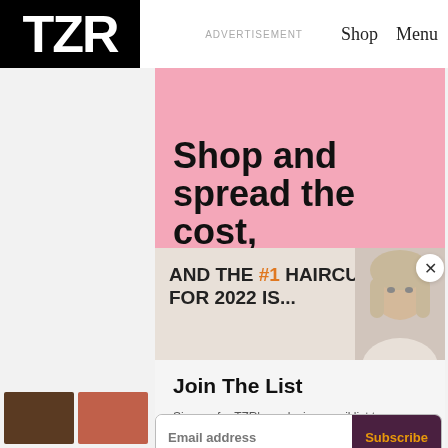TZR | ADVERTISEMENT | Shop | Menu
[Figure (infographic): Pink advertisement banner with bold text: Shop and spread the cost, interest-free.]
Shop and spread the cost, interest-free.
[Figure (photo): Article teaser overlay on beige background reading AND THE #1 HAIRCUT FOR 2022 IS... with photo of blonde woman on right]
AND THE #1 HAIRCUT FOR 2022 IS...
Join The List
Sign up for TZR's exclusive email list to uncover this season's top trends
Email address
Subscribe